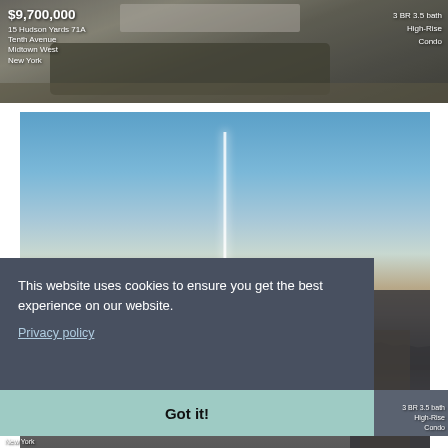[Figure (photo): Interior photo of luxury condo with rug and minimal furnishings, partially cropped at top]
$9,700,000
15 Hudson Yards 71A
Tenth Avenue
Midtown West
New York
3 BR 3.5 bath
High-Rise
Condo
[Figure (photo): Aerial/skyline photo of New York City with tall skyscraper prominent against blue sky]
This website uses cookies to ensure you get the best experience on our website.
Privacy policy
Got it!
3 BR 3.5 bath
High-Rise
Condo
New York